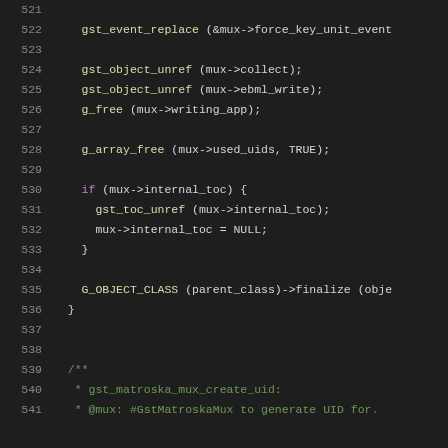[Figure (screenshot): Source code listing lines 521-541 showing C code for GStreamer matroska mux finalize function]